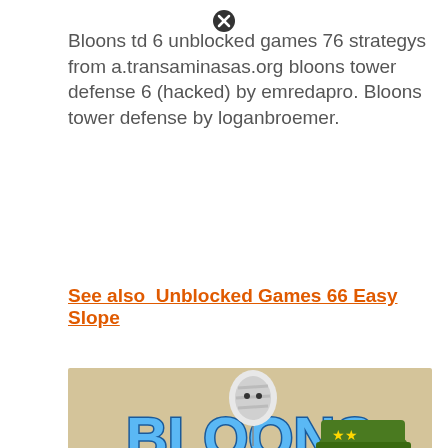Bloons td 6 unblocked games 76 strategys from a.transaminasas.org bloons tower defense 6 (hacked) by emredapro. Bloons tower defense by loganbroemer.
See also  Unblocked Games 66 Easy Slope
[Figure (illustration): Bloons TD5 game promotional image showing the BLOONS TD5 logo in colorful bold letters on a tan/beige background with a cartoon monkey character wearing a green military helmet saluting, a mummy balloon at the top, and text at the bottom reading 'Game, APK, Hacked, Unblocked, Strategy Ninja, Wiki, IOS, Free, Medals, Online Guide Unofficial']